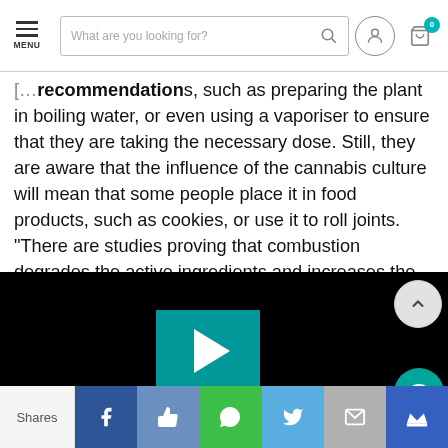MENU | [search bar] | user icon | cart icon (0)
recommendations, such as preparing the plant in boiling water, or even using a vaporiser to ensure that they are taking the necessary dose. Still, they are aware that the influence of the cannabis culture will mean that some people place it in food products, such as cookies, or use it to roll joints. "There are studies proving that combustion degrades the active ingredients and increases the risk of side effects, so we do not recommend it," Medica says.
[Figure (screenshot): Embedded video player with black background, teal/green play button centered, scroll-up button and chat button overlaid on right side]
Shares | Facebook | Like | WhatsApp | Twitter | Email | Crown